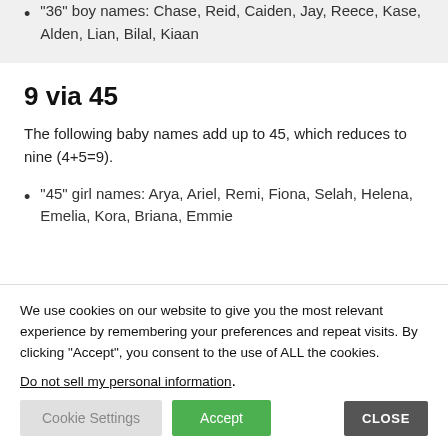“36” boy names: Chase, Reid, Caiden, Jay, Reece, Kase, Alden, Lian, Bilal, Kiaan
9 via 45
The following baby names add up to 45, which reduces to nine (4+5=9).
“45” girl names: Arya, Ariel, Remi, Fiona, Selah, Helena, Emelia, Kora, Briana, Emmie
We use cookies on our website to give you the most relevant experience by remembering your preferences and repeat visits. By clicking “Accept”, you consent to the use of ALL the cookies.
Do not sell my personal information.